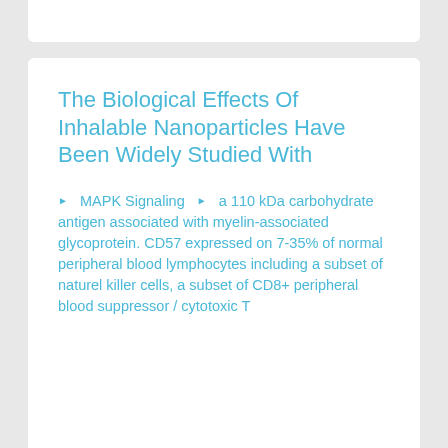The Biological Effects Of Inhalable Nanoparticles Have Been Widely Studied With
▶  MAPK Signaling  ▶  a 110 kDa carbohydrate antigen associated with myelin-associated glycoprotein. CD57 expressed on 7-35% of normal peripheral blood lymphocytes including a subset of naturel killer cells, a subset of CD8+ peripheral blood suppressor / cytotoxic T